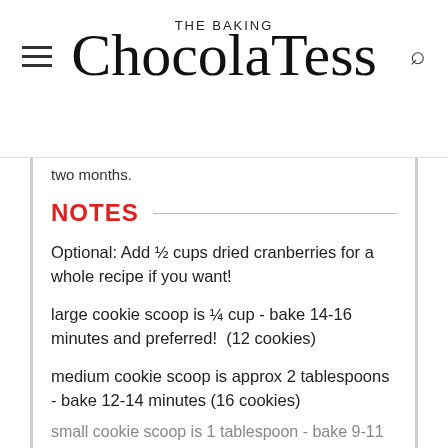THE BAKING ChocolaTess
two months.
NOTES
Optional: Add ½ cups dried cranberries for a whole recipe if you want!
large cookie scoop is ¼ cup - bake 14-16 minutes and preferred!  (12 cookies)
medium cookie scoop is approx 2 tablespoons - bake 12-14 minutes (16 cookies)
small cookie scoop is 1 tablespoon - bake 9-11 minutes (24 cookies)